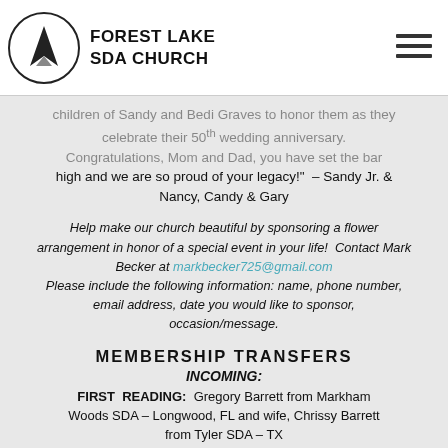FOREST LAKE SDA CHURCH
children of Sandy and Bedi Graves to honor them as they celebrate their 50th wedding anniversary. "Congratulations, Mom and Dad, you have set the bar high and we are so proud of your legacy!" – Sandy Jr. & Nancy, Candy & Gary
Help make our church beautiful by sponsoring a flower arrangement in honor of a special event in your life! Contact Mark Becker at markbecker725@gmail.com Please include the following information: name, phone number, email address, date you would like to sponsor, occasion/message.
MEMBERSHIP TRANSFERS
INCOMING:
FIRST READING: Gregory Barrett from Markham Woods SDA – Longwood, FL and wife, Chrissy Barrett from Tyler SDA – TX
SECOND READING: John & Judy Bedell from